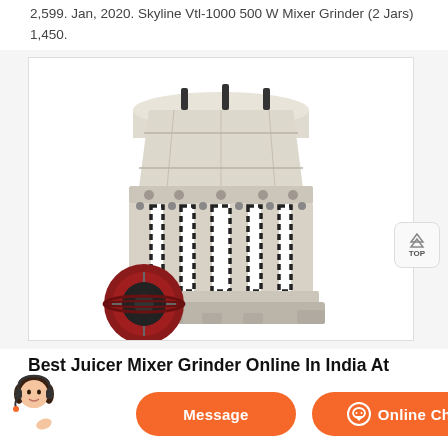2,599. Jan, 2020. Skyline Vtl-1000 500 W Mixer Grinder (2 Jars) 1,450.
[Figure (photo): Large industrial cone crusher / grinding machine with cream/beige colored body, black coil springs around the lower section, and a red pulley wheel on the lower left. White background.]
Best Juicer Mixer Grinder Online In India At Great
that money can buy. It has proven itself over decades of toil and